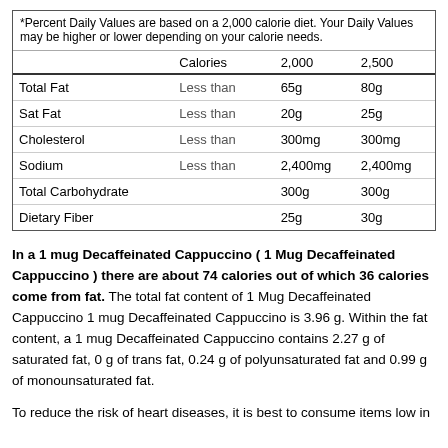*Percent Daily Values are based on a 2,000 calorie diet. Your Daily Values may be higher or lower depending on your calorie needs.
|  | Calories | 2,000 | 2,500 |
| --- | --- | --- | --- |
| Total Fat | Less than | 65g | 80g |
| Sat Fat | Less than | 20g | 25g |
| Cholesterol | Less than | 300mg | 300mg |
| Sodium | Less than | 2,400mg | 2,400mg |
| Total Carbohydrate |  | 300g | 300g |
| Dietary Fiber |  | 25g | 30g |
In a 1 mug Decaffeinated Cappuccino ( 1 Mug Decaffeinated Cappuccino ) there are about 74 calories out of which 36 calories come from fat. The total fat content of 1 Mug Decaffeinated Cappuccino 1 mug Decaffeinated Cappuccino is 3.96 g. Within the fat content, a 1 mug Decaffeinated Cappuccino contains 2.27 g of saturated fat, 0 g of trans fat, 0.24 g of polyunsaturated fat and 0.99 g of monounsaturated fat.
To reduce the risk of heart diseases, it is best to consume items low in